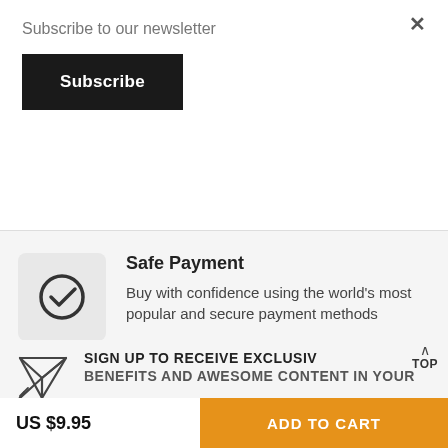Subscribe to our newsletter
Subscribe
Safe Payment
Buy with confidence using the world's most popular and secure payment methods
SIGN UP TO RECEIVE EXCLUSIV
BENEFITS AND AWESOME CONTENT IN YOUR
US $9.95
ADD TO CART